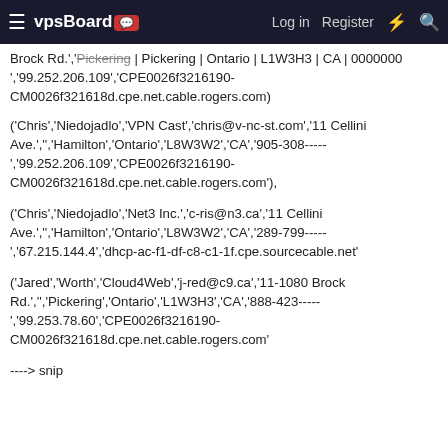vpsBoard | Log in | Register
Brock Rd.','Pickering','Ontario','L1W3H3','CA','0000000','99.252.206.109','CPE0026f3216190-CM0026f321618d.cpe.net.cable.rogers.com)
('Chris','Niedojadlo','VPN Cast','chris@v-nc-st.com','11 Cellini Ave.','','Hamilton','Ontario','L8W3W2','CA','905-308-----','99.252.206.109','CPE0026f3216190-CM0026f321618d.cpe.net.cable.rogers.com'),
('Chris','Niedojadlo','Net3 Inc.','c-ris@n3.ca','11 Cellini Ave.','','Hamilton','Ontario','L8W3W2','CA','289-799-----','67.215.144.4','dhcp-ac-f1-df-c8-c1-1f.cpe.sourcecable.net'
('Jared','Worth','Cloud4Web','j-red@c9.ca','11-1080 Brock Rd.','','Pickering','Ontario','L1W3H3','CA','888-423-----','99.253.78.60','CPE0026f3216190-CM0026f321618d.cpe.net.cable.rogers.com'
----> snip